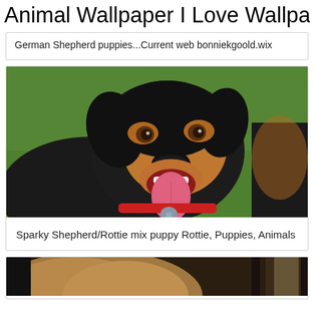Animal Wallpaper I Love Wallpaper
German Shepherd puppies...Current web bonniekgoold.wix
[Figure (photo): Black and tan puppy (Shepherd/Rottweiler mix) with tongue out, wearing a red collar with leash clip, sitting on green grass, looking at camera happily]
Sparky Shepherd/Rottie mix puppy Rottie, Puppies, Animals
[Figure (photo): Golden/brown fluffy dog partially visible at the bottom of the page, appears to be near a door or window frame]